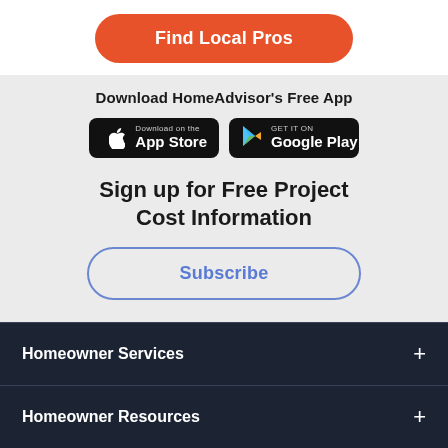Find Local Pros
Download HomeAdvisor's Free App
[Figure (other): App Store and Google Play download badges]
Sign up for Free Project Cost Information
Subscribe
Homeowner Services +
Homeowner Resources +